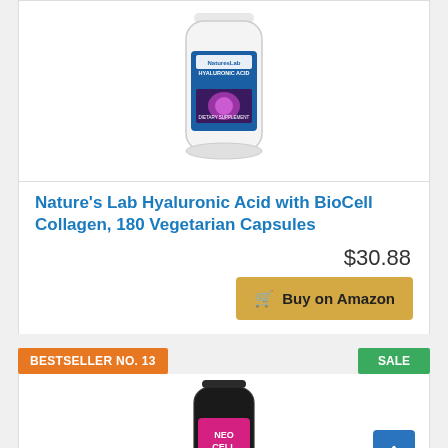[Figure (photo): Product bottle of Nature's Lab Hyaluronic Acid with BioCell Collagen, 180 Vegetarian Capsules — white bottle with blue and purple label]
Nature's Lab Hyaluronic Acid with BioCell Collagen, 180 Vegetarian Capsules
$30.88
Buy on Amazon
BESTSELLER NO. 13
SALE
[Figure (photo): Product bottle of NeoCell supplement — dark bottle with pink and white label, partially visible at bottom of page]